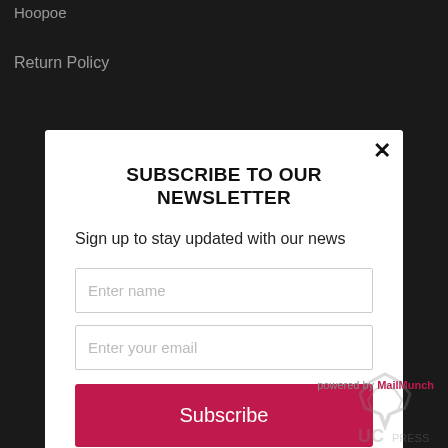Hoopoe
Return Policy
SUBSCRIBE TO OUR NEWSLETTER
Sign up to stay updated with our news
Enter name
Enter your email
Subscribe
powered by MailMunch